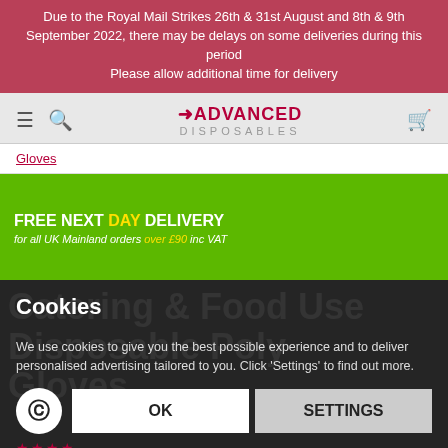Due to the Royal Mail Strikes 26th & 31st August and 8th & 9th September 2022, there may be delays on some deliveries during this period. Please allow additional time for delivery
[Figure (logo): Advanced Disposables logo with hamburger menu, search icon, and cart icon]
Gloves
[Figure (infographic): Green banner: FREE NEXT DAY DELIVERY for all UK Mainland orders over £90 inc VAT with coffee cups and bags image]
Cookies
We use cookies to give you the best possible experience and to deliver personalised advertising tailored to you. Click 'Settings' to find out more.
OK
SETTINGS